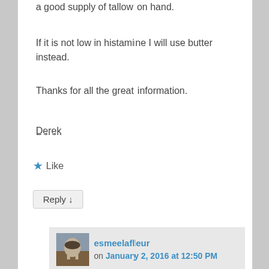a good supply of tallow on hand.
If it is not low in histamine I will use butter instead.
Thanks for all the great information.
Derek
★ Like
Reply ↓
esmeelafleur
on January 2, 2016 at 12:50 PM
rendered fat. Butter that has been cultured
Privacy & Cookies: This site uses cookies. By continuing to use this website, you agree to their use.
To find out more, including how to control cookies, see here: Cookie Policy
Close and accept